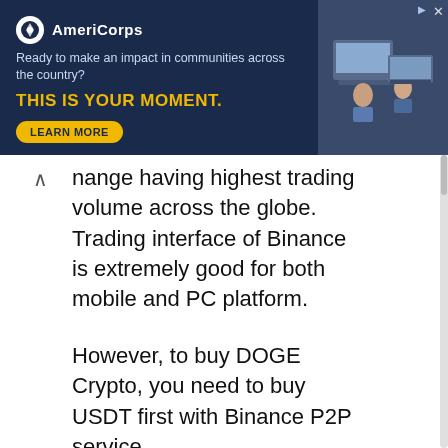[Figure (other): AmeriCorps advertisement banner. Dark navy background with AmeriCorps logo, text 'Ready to make an impact in communities across the country?', yellow headline 'THIS IS YOUR MOMENT.', a 'LEARN MORE' button, and a photo of people at computers on the right.]
nange having highest trading volume across the globe. Trading interface of Binance is extremely good for both mobile and PC platform.
However, to buy DOGE Crypto, you need to buy USDT first with Binance P2P service.
First, go to binance.com or install their app from Google Play Store or Apple App Store and Create an account with Binance.
Signup with Binance and get 30% Off on Trading Fees
Now, go to P2P section and buy Tether with